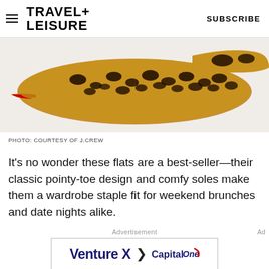TRAVEL+ LEISURE   SUBSCRIBE
[Figure (photo): Close-up photograph of leopard print pointed-toe flat shoes on a white background]
PHOTO: COURTESY OF J.CREW
It's no wonder these flats are a best-seller—their classic pointy-toe design and comfy soles make them a wardrobe staple fit for weekend brunches and date nights alike.
[Figure (other): Advertisement banner: Venture X > Capital One]